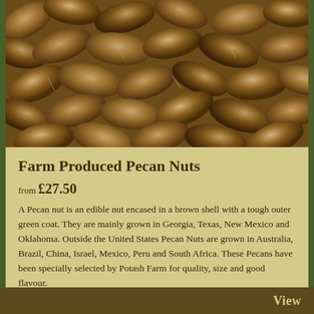[Figure (photo): Close-up photograph of numerous brown pecan nuts in their shells, piled together filling the entire frame]
Farm Produced Pecan Nuts
from £27.50
A Pecan nut is an edible nut encased in a brown shell with a tough outer green coat. They are mainly grown in Georgia, Texas, New Mexico and Oklahoma. Outside the United States Pecan Nuts are grown in Australia, Brazil, China, Israel, Mexico, Peru and South Africa. These Pecans have been specially selected by Potash Farm for quality, size and good flavour.
View